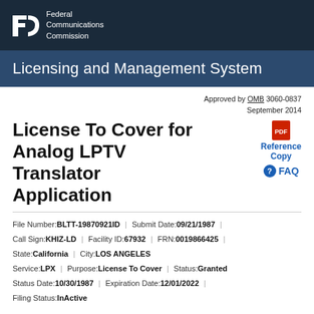[Figure (logo): FCC Federal Communications Commission logo on dark navy background]
Licensing and Management System
Approved by OMB 3060-0837
September 2014
License To Cover for Analog LPTV Translator Application
[Figure (other): PDF icon with Reference Copy label and FAQ button]
File Number: BLTT-19870921ID | Submit Date: 09/21/1987
Call Sign: KHIZ-LD | Facility ID: 67932 | FRN: 0019866425
State: California | City: LOS ANGELES
Service: LPX | Purpose: License To Cover | Status: Granted
Status Date: 10/30/1987 | Expiration Date: 12/01/2022
Filing Status: InActive